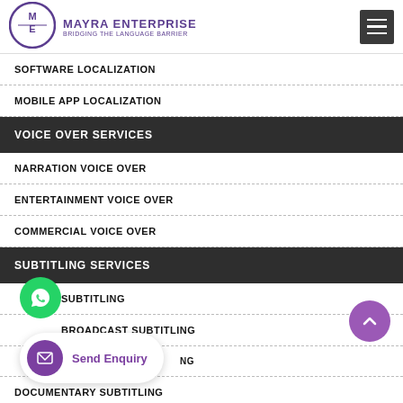MAYRA ENTERPRISE BRIDGING THE LANGUAGE BARRIER
SOFTWARE LOCALIZATION
MOBILE APP LOCALIZATION
VOICE OVER SERVICES
NARRATION VOICE OVER
ENTERTAINMENT VOICE OVER
COMMERCIAL VOICE OVER
SUBTITLING SERVICES
SUBTITLING
BROADCAST SUBTITLING
SUBTITLING
DOCUMENTARY SUBTITLING
[Figure (logo): Mayra Enterprise logo with ME monogram in purple circle]
[Figure (illustration): WhatsApp floating button (green circle)]
[Figure (illustration): Scroll-to-top button (purple circle with chevron up)]
[Figure (illustration): Send Enquiry popup with purple mail icon]